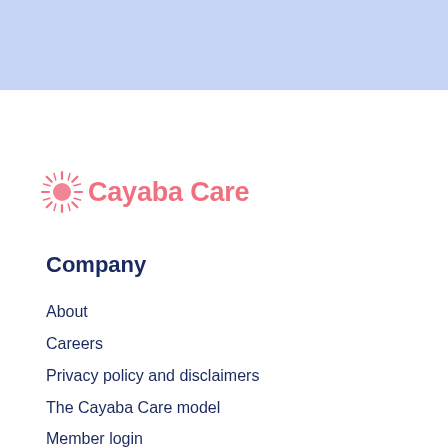[Figure (logo): Cayaba Care logo with sun/starburst icon in coral/pink and wordmark text]
Company
About
Careers
Privacy policy and disclaimers
The Cayaba Care model
Member login